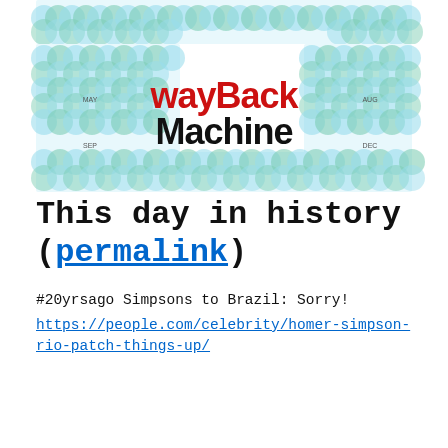[Figure (logo): Wayback Machine banner with colorful overlapping circle patterns in teal, blue, and green arranged in a calendar-like grid, with the Wayback Machine logo text in red and black in the center]
This day in history (permalink)
#20yrsago Simpsons to Brazil: Sorry!
https://people.com/celebrity/homer-simpson-rio-patch-things-up/